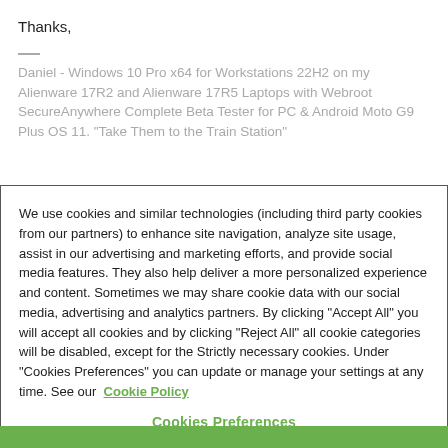Thanks,
Daniel - Windows 10 Pro x64 for Workstations 22H2 on my Alienware 17R2 and Alienware 17R5 Laptops with Webroot SecureAnywhere Complete Beta Tester for PC & Android Moto G9 Plus OS 11. "Take Them to the Train Station"
We use cookies and similar technologies (including third party cookies from our partners) to enhance site navigation, analyze site usage, assist in our advertising and marketing efforts, and provide social media features. They also help deliver a more personalized experience and content. Sometimes we may share cookie data with our social media, advertising and analytics partners. By clicking "Accept All" you will accept all cookies and by clicking "Reject All" all cookie categories will be disabled, except for the Strictly necessary cookies. Under "Cookies Preferences" you can update or manage your settings at any time. See our Cookie Policy
Cookies Preferences